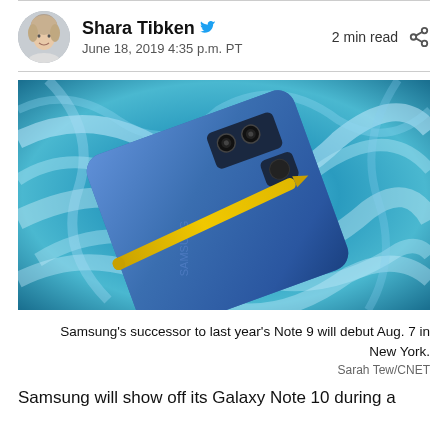Shara Tibken  June 18, 2019 4:35 p.m. PT  2 min read
[Figure (photo): Samsung Galaxy Note 9 smartphone in blue with yellow S Pen stylus resting on a blue and white marbled surface]
Samsung's successor to last year's Note 9 will debut Aug. 7 in New York.
Sarah Tew/CNET
Samsung will show off its Galaxy Note 10 during a